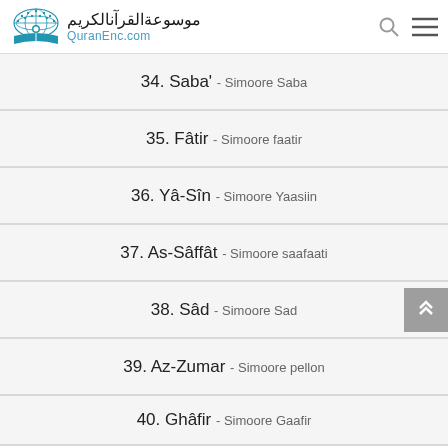موسوعة القرآن الكريم - QuranEnc.com
34. Saba' - Simoore Saba
35. Fâtir - Simoore faatir
36. Yâ-Sîn - Simoore Yaasiin
37. As-Sâffât - Simoore saafaati
38. Sâd - Simoore Sad
39. Az-Zumar - Simoore pellon
40. Ghâfir - Simoore Gaafir